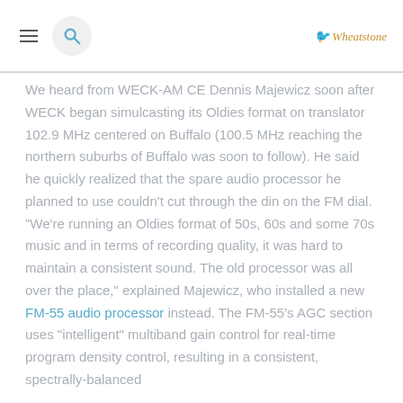Wheatstone
We heard from WECK-AM CE Dennis Majewicz soon after WECK began simulcasting its Oldies format on translator 102.9 MHz centered on Buffalo (100.5 MHz reaching the northern suburbs of Buffalo was soon to follow). He said he quickly realized that the spare audio processor he planned to use couldn't cut through the din on the FM dial. "We're running an Oldies format of 50s, 60s and some 70s music and in terms of recording quality, it was hard to maintain a consistent sound. The old processor was all over the place," explained Majewicz, who installed a new FM-55 audio processor instead. The FM-55's AGC section uses "intelligent" multiband gain control for real-time program density control, resulting in a consistent, spectrally-balanced